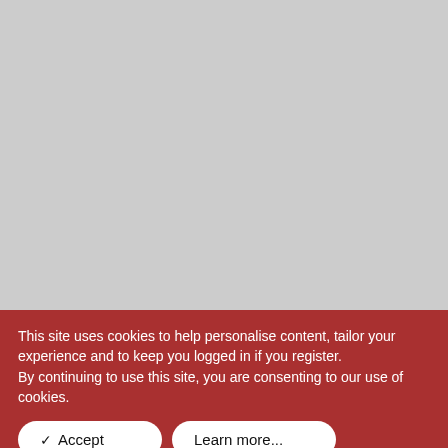[Figure (other): Large gray rectangle placeholder image area occupying the upper portion of the page]
This site uses cookies to help personalise content, tailor your experience and to keep you logged in if you register.
By continuing to use this site, you are consenting to our use of cookies.
✓ Accept
Learn more...